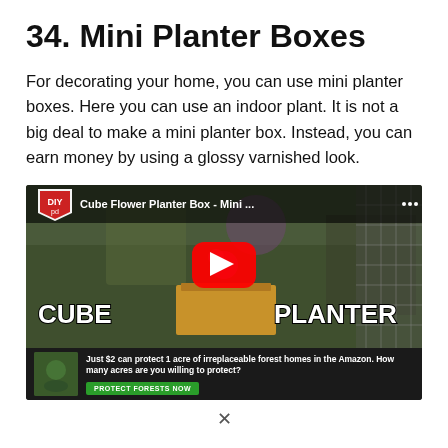34. Mini Planter Boxes
For decorating your home, you can use mini planter boxes. Here you can use an indoor plant. It is not a big deal to make a mini planter box. Instead, you can earn money by using a glossy varnished look.
[Figure (screenshot): YouTube video thumbnail for 'Cube Flower Planter Box - Mini ...' showing a DIY planter box with a purple flower, with text overlays CUBE and PLANTER, and a YouTube play button. Below it is an advertisement: 'Just $2 can protect 1 acre of irreplaceable forest homes in the Amazon. How many acres are you willing to protect?' with a green PROTECT FORESTS NOW button.]